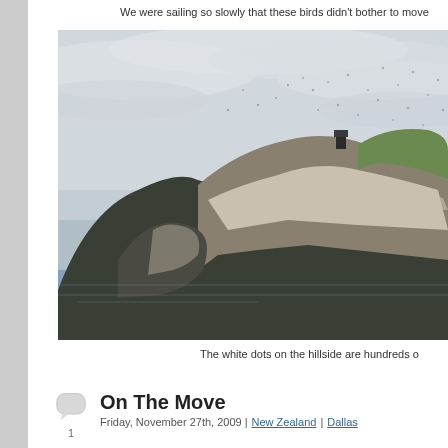We were sailing so slowly that these birds didn't bother to move
[Figure (photo): Coastal rocky hillside with white seabirds (gannets) covering the slopes, sea in foreground, overcast sky]
The white dots on the hillside are hundreds o
On The Move
Friday, November 27th, 2009 | New Zealand | Dallas